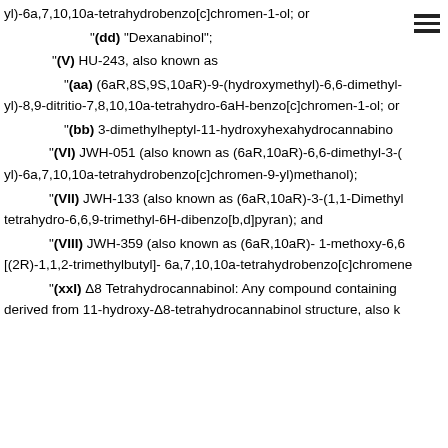yl)-6a,7,10,10a-tetrahydrobenzo[c]chromen-1-ol; or
"(dd) "Dexanabinol";
"(V) HU-243, also known as
"(aa) (6aR,8S,9S,10aR)-9-(hydroxymethyl)-6,6-dimethyl-yl)-8,9-ditritio-7,8,10,10a-tetrahydro-6aH-benzo[c]chromen-1-ol; or
"(bb) 3-dimethylheptyl-11-hydroxyhexahydrocannabino
"(VI) JWH-051 (also known as (6aR,10aR)-6,6-dimethyl-3-(yl)-6a,7,10,10a-tetrahydrobenzo[c]chromen-9-yl)methanol);
"(VII) JWH-133 (also known as (6aR,10aR)-3-(1,1-Dimethyl tetrahydro-6,6,9-trimethyl-6H-dibenzo[b,d]pyran); and
"(VIII) JWH-359 (also known as (6aR,10aR)- 1-methoxy-6,6 [(2R)-1,1,2-trimethylbutyl]- 6a,7,10,10a-tetrahydrobenzo[c]chromene
"(xxI) Δ8 Tetrahydrocannabinol: Any compound containing derived from 11-hydroxy-Δ8-tetrahydrocannabinol structure, also k